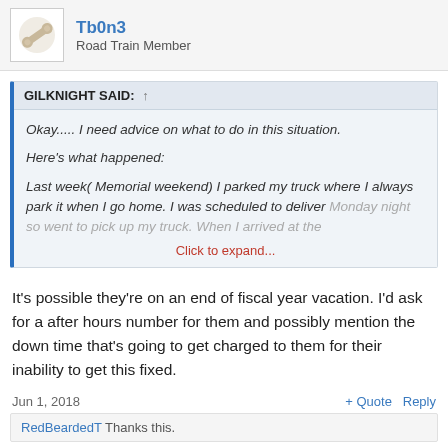Tb0n3 - Road Train Member
GILKNIGHT SAID: ↑
Okay..... I need advice on what to do in this situation.
Here's what happened:
Last week( Memorial weekend) I parked my truck where I always park it when I go home. I was scheduled to deliver Monday night so went to pick up my truck. When I arrived at the
Click to expand...
It's possible they're on an end of fiscal year vacation. I'd ask for a after hours number for them and possibly mention the down time that's going to get charged to them for their inability to get this fixed.
Jun 1, 2018
+ Quote   Reply
RedBeardedT Thanks this.